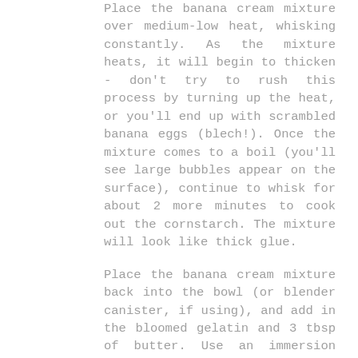Place the banana cream mixture over medium-low heat, whisking constantly. As the mixture heats, it will begin to thicken - don't try to rush this process by turning up the heat, or you'll end up with scrambled banana eggs (blech!). Once the mixture comes to a boil (you'll see large bubbles appear on the surface), continue to whisk for about 2 more minutes to cook out the cornstarch. The mixture will look like thick glue.
Place the banana cream mixture back into the bowl (or blender canister, if using), and add in the bloomed gelatin and 3 tbsp of butter. Use an immersion blender to blend until smooth. Add in 1/2 tsp of yellow food coloring. Cover with plastic wrap, making sure the plastic touches the surface of the banana cream mixture to prevent a skin from forming. Refrigerate until completely cool, 45-60 minutes.
Once the banana cream mixture has cooled, start on the whipped cream by combining 3/4 cup of heavy cream and 1 cup of confectioner's sugar in the bowl of